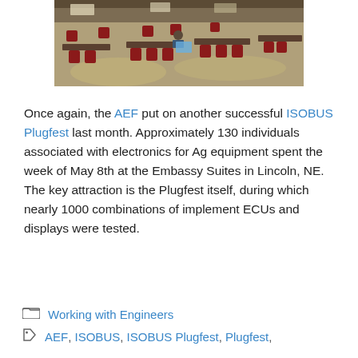[Figure (photo): Photo of a conference room with people seated at tables with laptops, red chairs, and a patterned carpet at the ISOBUS Plugfest event.]
Once again, the AEF put on another successful ISOBUS Plugfest last month. Approximately 130 individuals associated with electronics for Ag equipment spent the week of May 8th at the Embassy Suites in Lincoln, NE. The key attraction is the Plugfest itself, during which nearly 1000 combinations of implement ECUs and displays were tested.
Working with Engineers
AEF, ISOBUS, ISOBUS Plugfest, Plugfest,